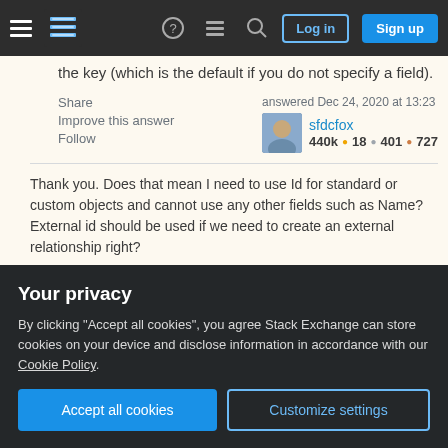Stack Exchange navigation bar with Log in and Sign up buttons
the key (which is the default if you do not specify a field).
Share   Improve this answer   Follow   answered Dec 24, 2020 at 13:23   sfdcfox   440k • 18 • 401 • 727
Thank you. Does that mean I need to use Id for standard or custom objects and cannot use any other fields such as Name? External id should be used if we need to create an external relationship right?
– Krishnamurthy  Dec 24, 2020 at 13:28
Your privacy
By clicking "Accept all cookies", you agree Stack Exchange can store cookies on your device and disclose information in accordance with our Cookie Policy.
Accept all cookies   Customize settings